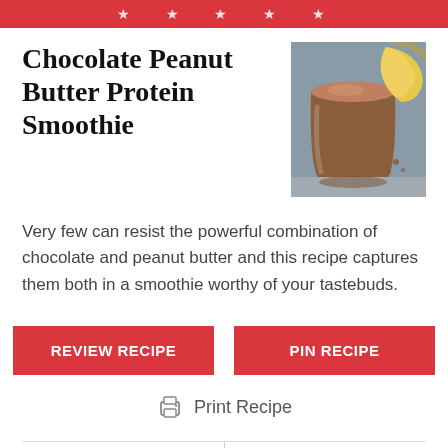★ ★ ★ ★ ★
Chocolate Peanut Butter Protein Smoothie
[Figure (photo): Photo of a chocolate peanut butter smoothie in a glass jar with bananas in background]
Very few can resist the powerful combination of chocolate and peanut butter and this recipe captures them both in a smoothie worthy of your tastebuds.
REVIEW RECIPE
PIN RECIPE
Print Recipe
Prep Time
Total Time